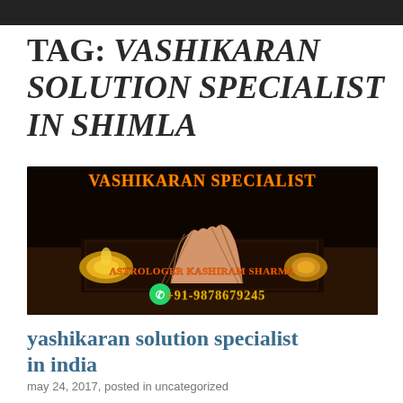TAG: VASHIKARAN SOLUTION SPECIALIST IN SHIMLA
[Figure (photo): Dark promotional image with a voodoo doll hand on a book with candles, text reading 'VASHIKARAN SPECIALIST', 'ASTROLOGER KASHIRAM SHARMA', and '+91-9878679245' with WhatsApp icon]
yashikaran solution specialist in india
may 24, 2017, posted in uncategorized